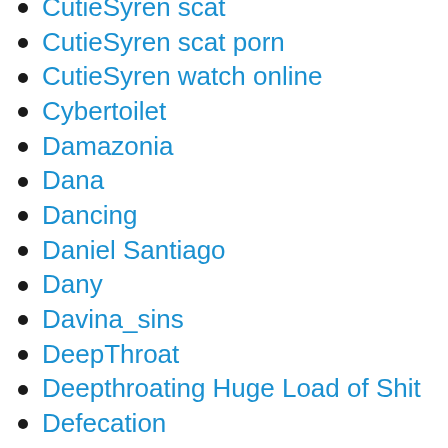CutieSyren scat
CutieSyren scat porn
CutieSyren watch online
Cybertoilet
Damazonia
Dana
Dancing
Daniel Santiago
Dany
Davina_sins
DeepThroat
Deepthroating Huge Load of Shit
Defecation
Desirée
Desperation
Devil Sophie
DevilSophie